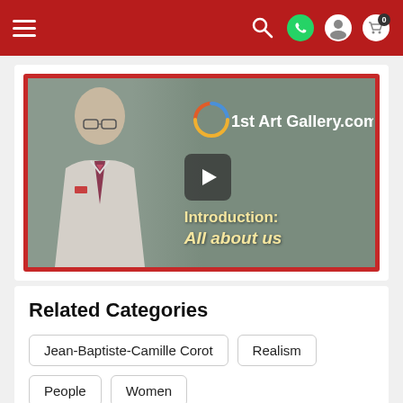1st Art Gallery navigation bar
[Figure (screenshot): Video thumbnail for '1st Art Gallery.com Introduction: All about us' showing a man in a suit with the gallery logo and a play button overlay]
Related Categories
Jean-Baptiste-Camille Corot
Realism
People
Women